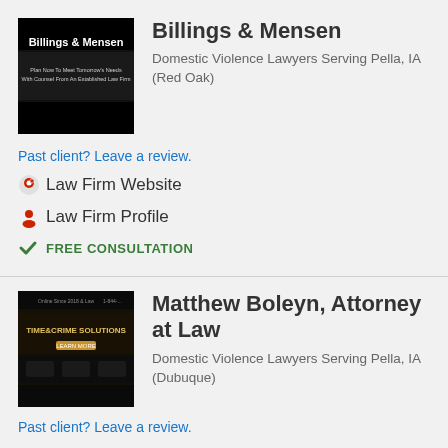[Figure (logo): Billings & Mensen law firm logo - black background with white text]
Billings & Mensen
Domestic Violence Lawyers Serving Pella, IA (Red Oak)
Past client? Leave a review.
Law Firm Website
Law Firm Profile
FREE CONSULTATION
[Figure (screenshot): Matthew Boleyn Attorney at Law website screenshot - dark background]
Matthew Boleyn, Attorney at Law
Domestic Violence Lawyers Serving Pella, IA (Dubuque)
Past client? Leave a review.